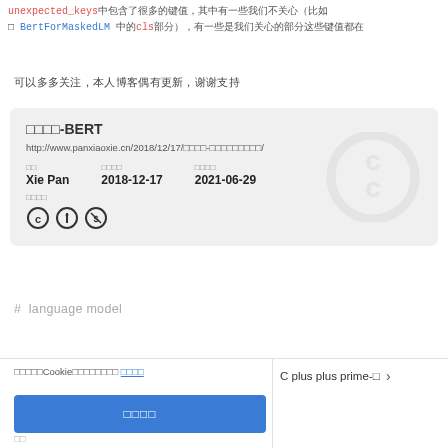unexpected_keys 中包含了很多的键值，其中有一些我们不关心（比如 BertForMaskedLM 中的 cls 部分），有一些是我们关心的
可以多多关注，本人博客偶有更新，谢谢支持
[Figure (other): Reference card showing: Title: 解读代码-BERT, URL: http://www.panxiaoxie.cn/2018/12/17/解读代码-BertModel源码解读/, Author: Xie Pan, Created: 2018-12-17, Updated: 2021-06-29, License: CC BY-NC icons, CC watermark in background]
#  language model
本网站使用Cookie来改善您的体验 了解更多
C plus plus prime-上 >
接受
关闭